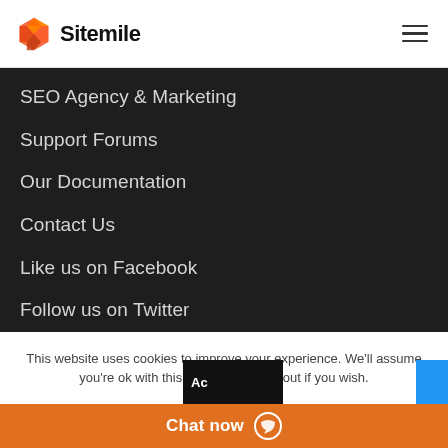Sitemile
SEO Agency & Marketing
Support Forums
Our Documentation
Contact Us
Like us on Facebook
Follow us on Twitter
WPExpert Max
Wp Beginner Tutorials
AIO Agency Romania
This website uses cookies to improve your experience. We'll assume you're ok with this, but you can opt-out if you wish.
Chat now